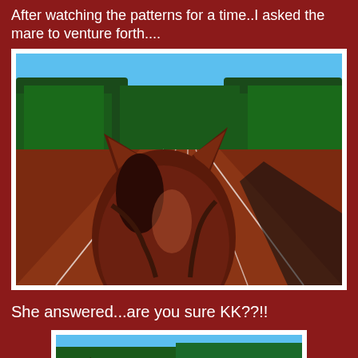After watching the patterns for a time..I asked the mare to venture forth....
[Figure (photo): View from horseback looking between horse's ears down a red dirt arena track with white lane lines, surrounded by evergreen trees under a blue sky]
She answered...are you sure KK??!!
[Figure (photo): Close-up view from horseback showing horse's neck/mane with reins, trees and blue sky in background]